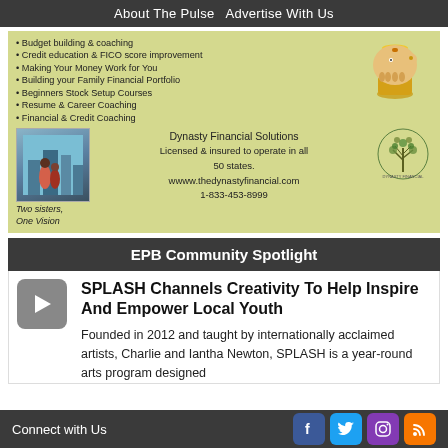About The Pulse  Advertise With Us
[Figure (illustration): Dynasty Financial Solutions advertisement with piggy bank image, two sisters photo, bullet list of services, company info and logo]
EPB Community Spotlight
[Figure (other): Video play button icon thumbnail]
SPLASH Channels Creativity To Help Inspire And Empower Local Youth
Founded in 2012 and taught by internationally acclaimed artists, Charlie and Iantha Newton, SPLASH is a year-round arts program designed
Connect with Us